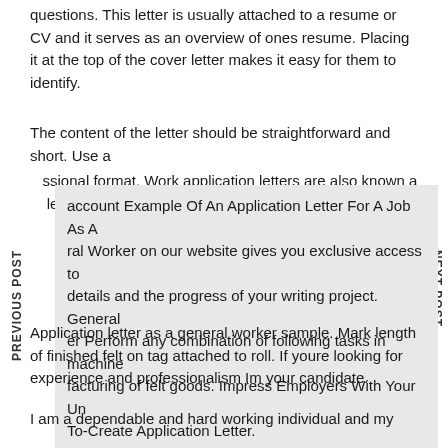questions. This letter is usually attached to a resume or CV and it serves as an overview of ones resume. Placing it at the top of the cover letter makes it easy for them to identify.
The content of the letter should be straightforward and short. Use a professional format. Work application letters are also known as letters.
account Example Of An Application Letter For A Job As A General Worker on our website gives you exclusive access to details and the progress of your writing project. General Worker Perform any combination of following tasks in manufacturing of felt goods. Impress Employers With Your Un To-Create Application Letter.
PREVIOUS POST
NEXT POST
Application letter as a general worker sample. Mark length of finished felt on tag attached to roll. If youre looking for experience and professionalism Im your candidate.
I am a dependable and hard working individual and my